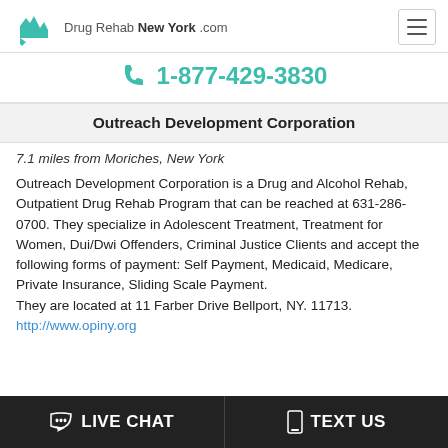Drug Rehab New York .com
1-877-429-3830
Outreach Development Corporation
7.1 miles from Moriches, New York
Outreach Development Corporation is a Drug and Alcohol Rehab, Outpatient Drug Rehab Program that can be reached at 631-286-0700. They specialize in Adolescent Treatment, Treatment for Women, Dui/Dwi Offenders, Criminal Justice Clients and accept the following forms of payment: Self Payment, Medicaid, Medicare, Private Insurance, Sliding Scale Payment.
They are located at 11 Farber Drive Bellport, NY. 11713.
http://www.opiny.org
LIVE CHAT | TEXT US